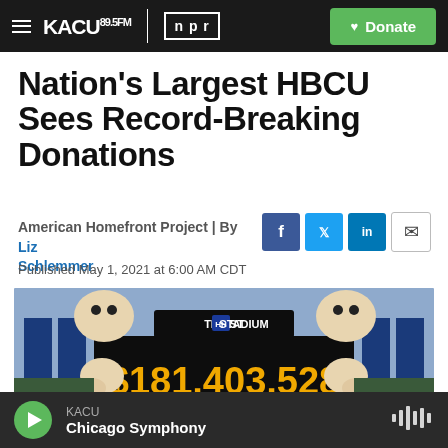KACU 89.5FM | NPR | Donate
Nation's Largest HBCU Sees Record-Breaking Donations
American Homefront Project | By Liz Schlemmer
Published May 1, 2021 at 6:00 AM CDT
[Figure (photo): Stadium scoreboard showing $181,403,528 at Truist Stadium with a mascot character holding the sign]
KACU - Chicago Symphony